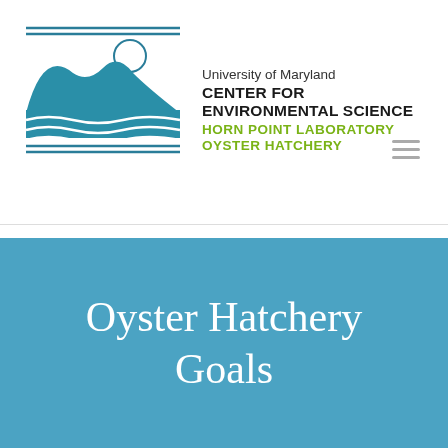[Figure (logo): University of Maryland Center for Environmental Science Horn Point Laboratory Oyster Hatchery logo with teal wave and mountain graphic]
Oyster Hatchery Goals